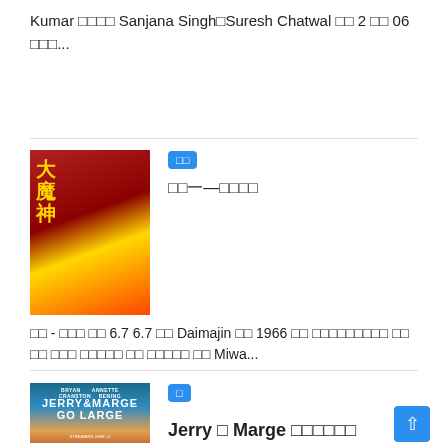Kumar □□□□ Sanjana Singh□Suresh Chatwal □□ 2 □□ 06 □□□...
[Figure (photo): Movie poster for Daimajin (1966), Japanese film with large warrior statue figure against red and gold background with Chinese/Japanese characters]
□□□—□□□□
□□ - □□□ □□ 6.7 6.7 □□ Daimajin □□ 1966 □□ □□□□□□□□□ □□ □□ □□□ □□□□□ □□ □□□□□ □□ Miwa...
[Figure (photo): Movie poster for Jerry & Marge Go Large, showing two people in a car with text JERRY & MARGE GO LARGE and STREAMING JUNE 11]
Jerry □ Marge □□□□□□